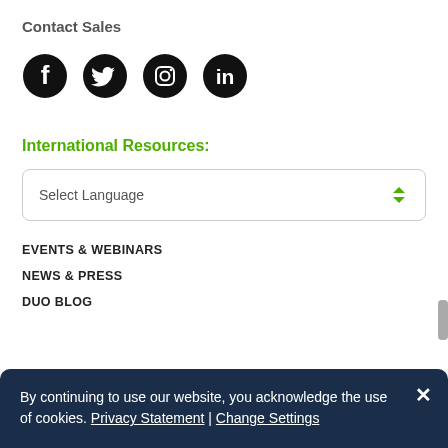Contact Sales
[Figure (illustration): Four social media icons: Facebook, Twitter, Instagram, LinkedIn]
International Resources:
Select Language
EVENTS & WEBINARS
NEWS & PRESS
DUO BLOG
By continuing to use our website, you acknowledge the use of cookies. Privacy Statement | Change Settings